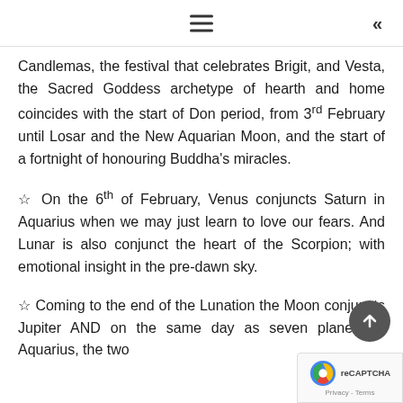≡  «
Candlemas, the festival that celebrates Brigit, and Vesta, the Sacred Goddess archetype of hearth and home coincides with the start of Don period, from 3rd February until Losar and the New Aquarian Moon, and the start of a fortnight of honouring Buddha's miracles.
☆ On the 6th of February, Venus conjuncts Saturn in Aquarius when we may just learn to love our fears. And Lunar is also conjunct the heart of the Scorpion; with emotional insight in the pre-dawn sky.
☆ Coming to the end of the Lunation the Moon conjuncts Jupiter AND on the same day as seven planets in Aquarius, the two